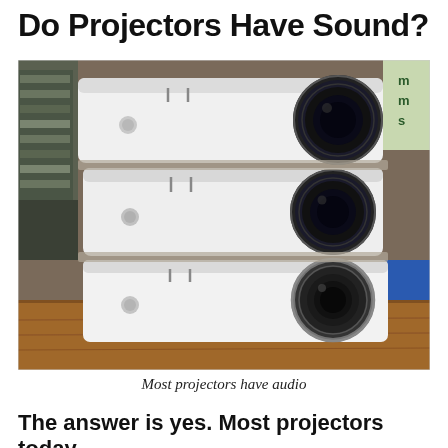Do Projectors Have Sound?
[Figure (photo): Three white projectors stacked on top of each other on a wooden surface, each with a large circular lens on the right side, shot in an indoor environment.]
Most projectors have audio
The answer is yes. Most projectors today